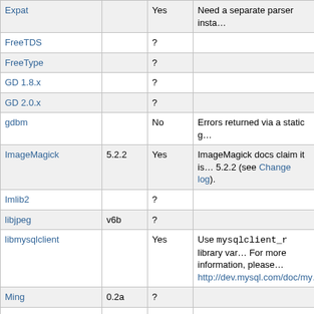| Library | Version | Thread Safe? | Notes |
| --- | --- | --- | --- |
| Expat |  | Yes | Need a separate parser insta… |
| FreeTDS |  | ? |  |
| FreeType |  | ? |  |
| GD 1.8.x |  | ? |  |
| GD 2.0.x |  | ? |  |
| gdbm |  | No | Errors returned via a static g… |
| ImageMagick | 5.2.2 | Yes | ImageMagick docs claim it is… 5.2.2 (see Change log). |
| Imlib2 |  | ? |  |
| libjpeg | v6b | ? |  |
| libmysqlclient |  | Yes | Use mysqlclient_r library var… For more information, please… http://dev.mysql.com/doc/my… |
| Ming | 0.2a | ? |  |
| Net-SNMP | 5.0.x | ? |  |
| OpenLDAP | 2.1.x | Yes | Use ldap_r library variant t… |
| OpenSSL | 0.9.6g | Yes | Requires proper usage of CR… CRYPTO_set_locking_ca… CRYPTO_set_id_callbac… |
| liboci8 (Oracle 8+) | 8.x,9.x | ? |  |
| pdflib | 5.0.x | Yes | PDFLib docs claim it is thro… |